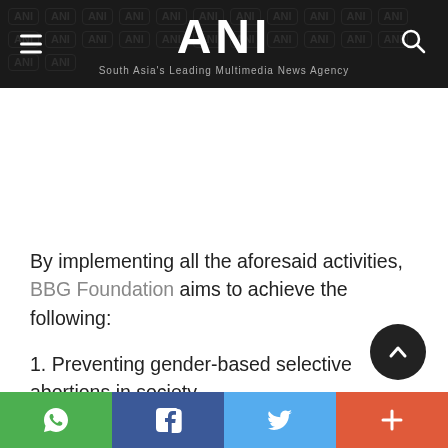ANI — South Asia's Leading Multimedia News Agency
By implementing all the aforesaid activities, BBG Foundation aims to achieve the following:
1. Preventing gender-based selective abortions in society